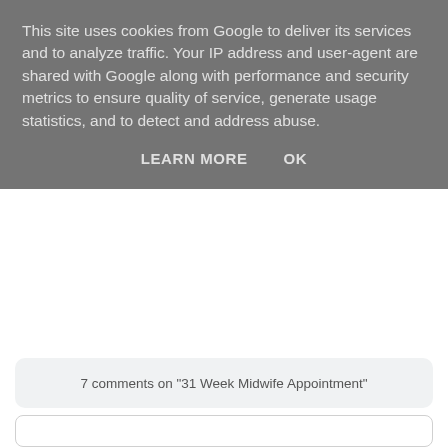This site uses cookies from Google to deliver its services and to analyze traffic. Your IP address and user-agent are shared with Google along with performance and security metrics to ensure quality of service, generate usage statistics, and to detect and address abuse.
LEARN MORE    OK
7 comments on "31 Week Midwife Appointment"